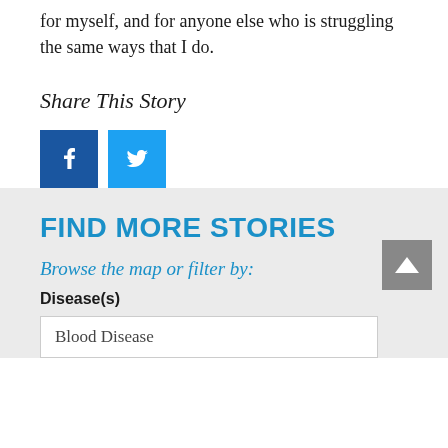for myself, and for anyone else who is struggling the same ways that I do.
Share This Story
[Figure (other): Facebook and Twitter share buttons]
FIND MORE STORIES
Browse the map or filter by:
Disease(s)
Blood Disease